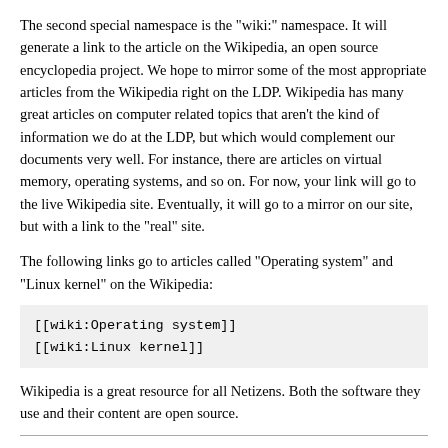The second special namespace is the "wiki:" namespace. It will generate a link to the article on the Wikipedia, an open source encyclopedia project. We hope to mirror some of the most appropriate articles from the Wikipedia right on the LDP. Wikipedia has many great articles on computer related topics that aren't the kind of information we do at the LDP, but which would complement our documents very well. For instance, there are articles on virtual memory, operating systems, and so on. For now, your link will go to the live Wikipedia site. Eventually, it will go to a mirror on our site, but with a link to the "real" site.
The following links go to articles called "Operating system" and "Linux kernel" on the Wikipedia:
[[wiki:Operating system]]
[[wiki:Linux kernel]]
Wikipedia is a great resource for all Netizens. Both the software they use and their content are open source.
5.4. Filenames
You can indicate filenames by wrapping them with double brackets, just like http and other links. Or, you can specify the